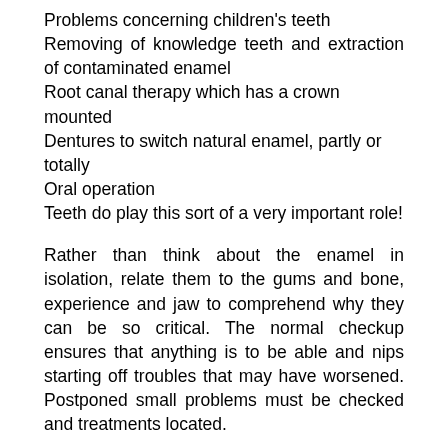Problems concerning children's teeth
Removing of knowledge teeth and extraction of contaminated enamel
Root canal therapy which has a crown mounted
Dentures to switch natural enamel, partly or totally
Oral operation
Teeth do play this sort of a very important role!
Rather than think about the enamel in isolation, relate them to the gums and bone, experience and jaw to comprehend why they can be so critical. The normal checkup ensures that anything is to be able and nips starting off troubles that may have worsened. Postponed small problems must be checked and treatments located.
Little ones really should go into the balanced and hygienic procedures early to make sure a lifetime of challenge no cost enamel. Young children must be drinking water as opposed to fruit juices. Sucking the